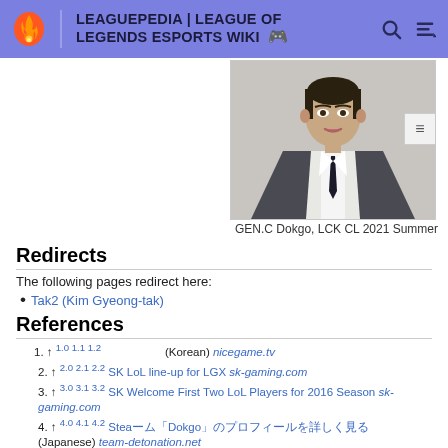LEAGUEPEDIA | LEAGUE OF LEGENDS ESPORTS WIKI
[Figure (photo): Man in suit and tie, headshot photo labeled GEN.C Dokgo, LCK CL 2021 Summer]
GEN.C Dokgo, LCK CL 2021 Summer
Redirects
The following pages redirect here:
Tak2 (Kim Gyeong-tak)
References
1. ↑ 1.0 1.1 1.2 (Korean) nicegame.tv
2. ↑ 2.0 2.1 2.2 SK LoL line-up for LGX sk-gaming.com
3. ↑ 3.0 3.1 3.2 SK Welcome First Two LoL Players for 2016 Season sk-gaming.com
4. ↑ 4.0 4.1 4.2 Steam「Dokgo」（Japanese）team-detonation.net
5. ↑ 5.0 5.1 5.2 「元SK Gaming」「Dokgo」DetonatioN FocusMeに入団　LJL Round3 (Japanese) team-detonation.net
6. ↑ 6.0 6.1 6.2 GCD Archive Pages: before change - TUR - 2018-06-04; after change - TUR - 2018-06-05
7. ↑ 7.0 7.1 7.2 Gen.G's Tweet (Korean) twitter.com